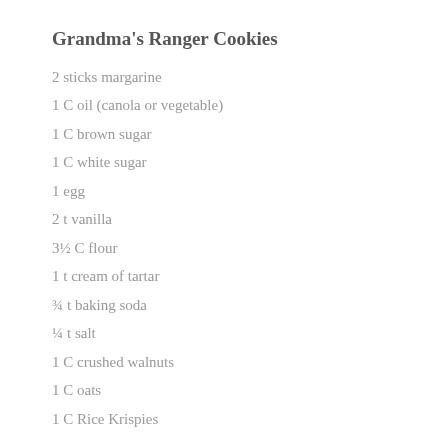Grandma's Ranger Cookies
2 sticks margarine
1 C oil (canola or vegetable)
1 C brown sugar
1 C white sugar
1 egg
2 t vanilla
3½ C flour
1 t cream of tartar
¾ t baking soda
¼ t salt
1 C crushed walnuts
1 C oats
1 C Rice Krispies
Cream margarine, oil and sugars. Add egg and vanilla and beat well. Sift in flour, cream of tartar, soda and salt. Add nuts, oats…